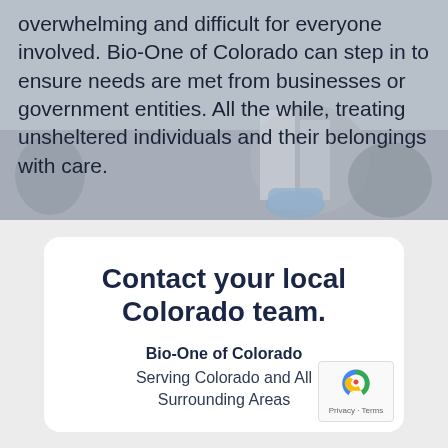[Figure (photo): Background photo of people in protective gear (blue shoe covers, gloves) handling waste bags outdoors, with overlaid dark text.]
overwhelming and difficult for everyone involved. Bio-One of Colorado can step in to ensure needs are met from businesses or government entities. All the while, treating unsheltered individuals and their belongings with care.
Contact your local Colorado team.
Bio-One of Colorado
Serving Colorado and All Surrounding Areas